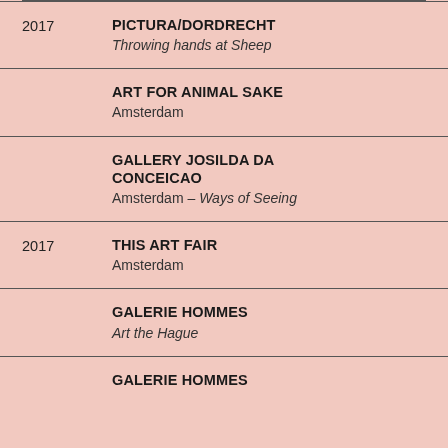2017 PICTURA/DORDRECHT Throwing hands at Sheep
ART FOR ANIMAL SAKE Amsterdam
GALLERY JOSILDA DA CONCEICAO Amsterdam – Ways of Seeing
2017 THIS ART FAIR Amsterdam
GALERIE HOMMES Art the Hague
GALERIE HOMMES